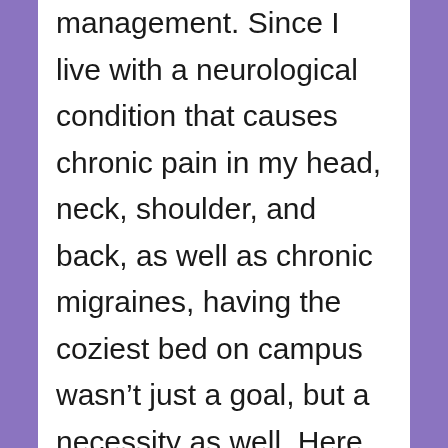management. Since I live with a neurological condition that causes chronic pain in my head, neck, shoulder, and back, as well as chronic migraines, having the coziest bed on campus wasn't just a goal, but a necessity as well. Here is how I set up my college